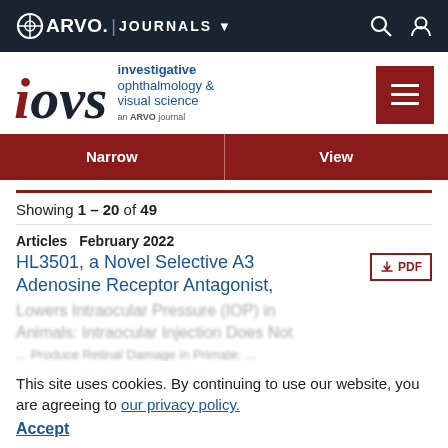ARVO JOURNALS
[Figure (logo): IOVS - Investigative Ophthalmology & Visual Science journal logo with ARVO Journals header]
Narrow | View
Showing 1 – 20 of 49
Articles  February 2022
HL3501, a Novel Selective A3 Adenosine Receptor Antagonist, Lowers Intraocular Pressure (IOP) in Animals: Intraocular Injection Does Not Produce Retinal Damage in Primate; and Joo Chan Son; Byoung-Gon Moon
This site uses cookies. By continuing to use our website, you are agreeing to our privacy policy.
Accept